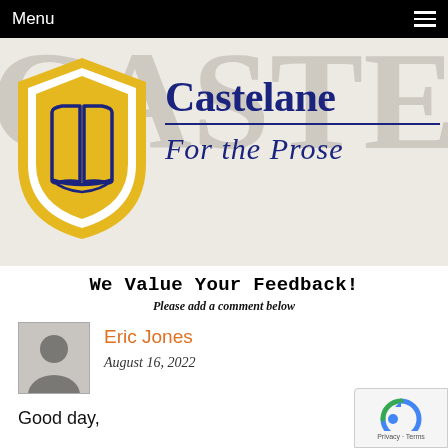Menu
[Figure (logo): Castelane 'For the Prose' logo with gold shield containing open book and dark blue brand text]
We Value Your Feedback!
Please add a comment below
Eric Jones
August 16, 2022
Good day,